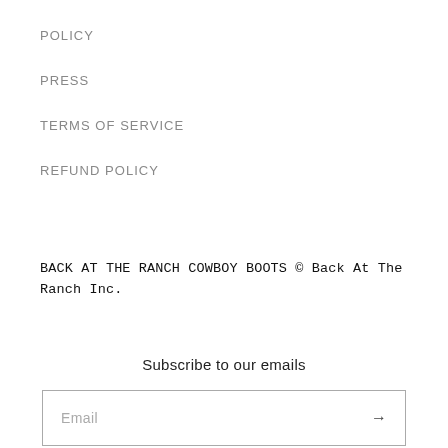POLICY
PRESS
TERMS OF SERVICE
REFUND POLICY
BACK AT THE RANCH COWBOY BOOTS © Back At The Ranch Inc.
Subscribe to our emails
Email